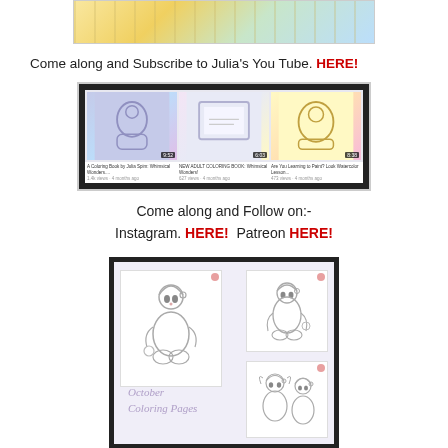[Figure (illustration): Partial decorative banner image at top of page, showing a whimsical golden/colourful illustration, cropped at top edge]
Come along and Subscribe to Julia's You Tube. HERE!
[Figure (screenshot): Screenshot of a YouTube channel page showing three video thumbnails: 'A Coloring Book by Julia Spim: Whimsical Wonders...', 'NEW ADULT COLORING BOOK: Whimsical Wonders!', 'Are You Learning to Paint? Look Watercolor Lesson...' with view counts and timestamps.]
Come along and Follow on:- Instagram. HERE!  Patreon HERE!
[Figure (photo): Photo of October Coloring Pages product showing three coloring page sketches of cute cat/elf characters wearing winter hats, displayed in a black-framed collage. Text reads 'October Coloring Pages'.]